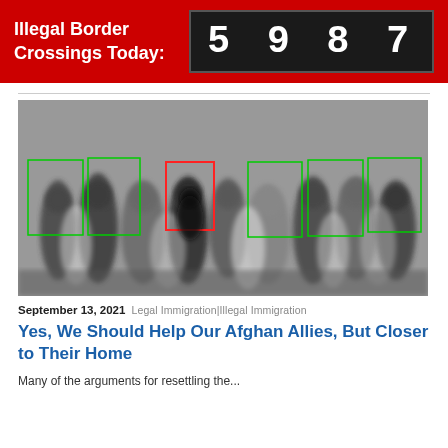Illegal Border Crossings Today: 5987
[Figure (photo): Black and white surveillance/crowd photo showing many people walking, with green bounding boxes around individuals and one red bounding box highlighting a person in the center]
September 13, 2021 Legal Immigration|Illegal Immigration
Yes, We Should Help Our Afghan Allies, But Closer to Their Home
Many of the arguments for resettling the...